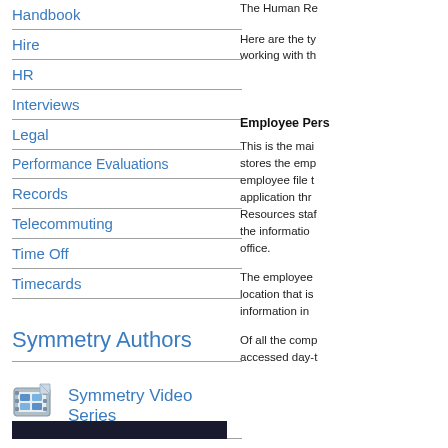Handbook
Hire
HR
Interviews
Legal
Performance Evaluations
Records
Telecommuting
Time Off
Timecards
Symmetry Authors
[Figure (illustration): Symmetry Video Series icon with film reel graphic and label]
The Human Re
Here are the ty working with th
Employee Pers
This is the mai stores the emp employee file t application thr Resources staf the informatio office.
The employee location that is information in
Of all the comp accessed day-t